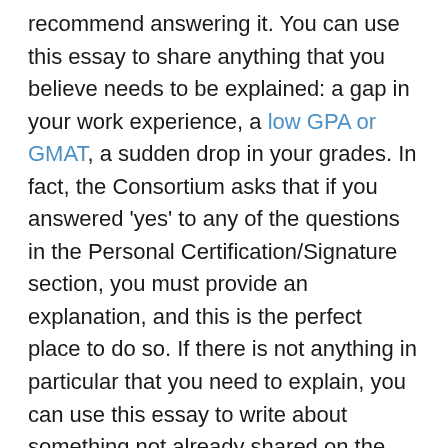recommend answering it. You can use this essay to share anything that you believe needs to be explained: a gap in your work experience, a low GPA or GMAT, a sudden drop in your grades. In fact, the Consortium asks that if you answered 'yes' to any of the questions in the Personal Certification/Signature section, you must provide an explanation, and this is the perfect place to do so. If there is not anything in particular that you need to explain, you can use this essay to write about something not already shared on the required essays. For example, an experience from an extracurricular activity, a special hobby, or a unique story that would help you stand out. Given the tight word limit in all the essays, this is a great opportunity for you to share a part of you that they would not otherwise see.